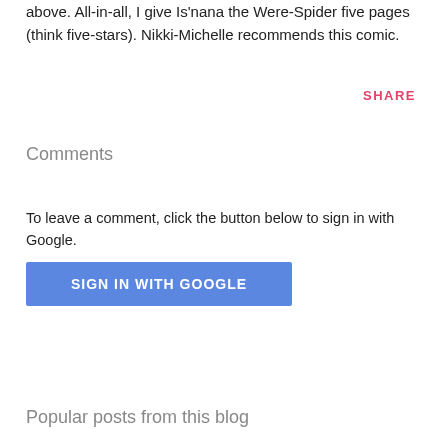above. All-in-all, I give Is'nana the Were-Spider five pages (think five-stars). Nikki-Michelle recommends this comic.
SHARE
Comments
To leave a comment, click the button below to sign in with Google.
[Figure (other): Blue 'SIGN IN WITH GOOGLE' button]
Popular posts from this blog